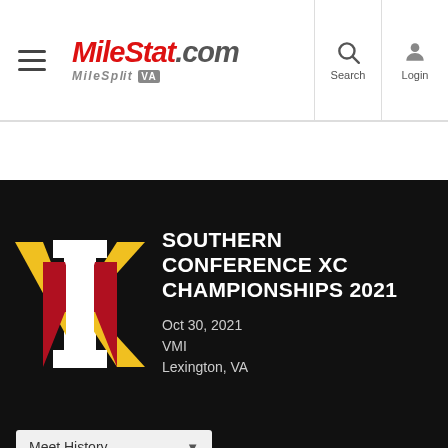MilesStat.com MileSplit VA | Search | Login
[Figure (logo): VMI Keydets athletic logo — interlocking V, M, I letters in yellow/gold and red on black background]
Southern Conference XC Championships 2021
Oct 30, 2021
VMI
Lexington, VA
Meet History
Home   Results   Teams